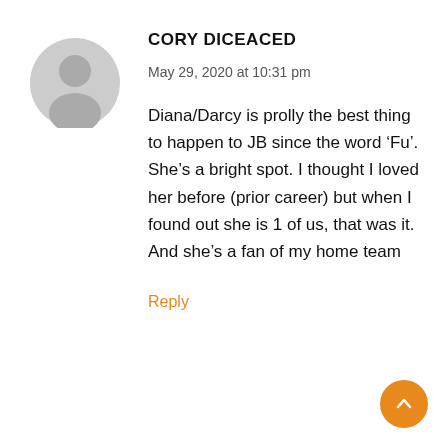[Figure (illustration): Gray circular avatar placeholder icon showing a silhouette of a person (head and shoulders) on a gray background]
CORY DICEACED
May 29, 2020 at 10:31 pm
Diana/Darcy is prolly the best thing to happen to JB since the word ‘Fu’. She’s a bright spot. I thought I loved her before (prior career) but when I found out she is 1 of us, that was it.
And she’s a fan of my home team
Reply